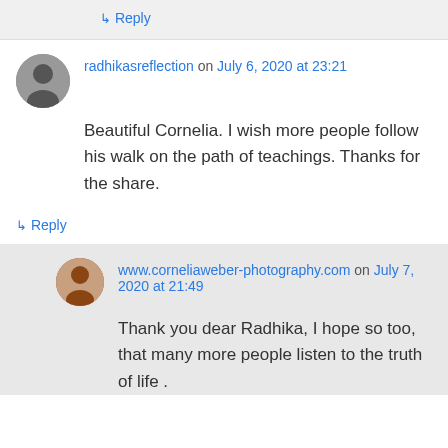↳ Reply
radhikasreflection on July 6, 2020 at 23:21
Beautiful Cornelia. I wish more people follow his walk on the path of teachings. Thanks for the share.
↳ Reply
www.corneliaweber-photography.com on July 7, 2020 at 21:49
Thank you dear Radhika, I hope so too, that many more people listen to the truth of life .